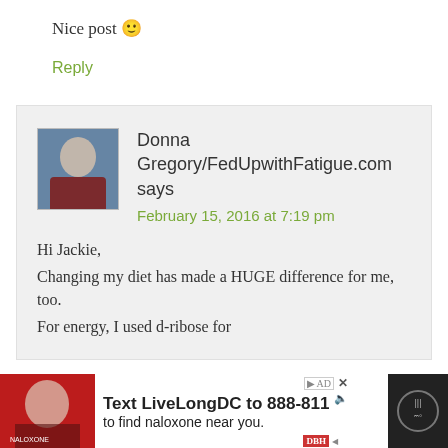Nice post 🙂
Reply
Donna Gregory/FedUpwithFatigue.com says
February 15, 2016 at 7:19 pm
Hi Jackie,
Changing my diet has made a HUGE difference for me, too.
For energy, I used d-ribose for
[Figure (infographic): Advertisement banner at bottom: 'Text LiveLongDC to 888-811 to find naloxone near you.' with red and white design and close button.]